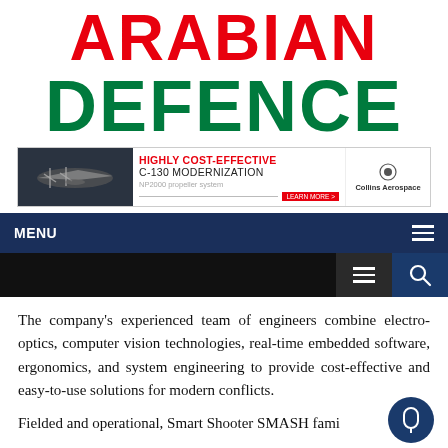ARABIAN DEFENCE
[Figure (infographic): Banner advertisement for Collins Aerospace: HIGHLY COST-EFFECTIVE C-130 MODERNIZATION, NP2000 propeller system, with airplane photo on the left and Collins Aerospace logo on the right.]
MENU
The company's experienced team of engineers combine electro-optics, computer vision technologies, real-time embedded software, ergonomics, and system engineering to provide cost-effective and easy-to-use solutions for modern conflicts.
Fielded and operational, Smart Shooter SMASH family of